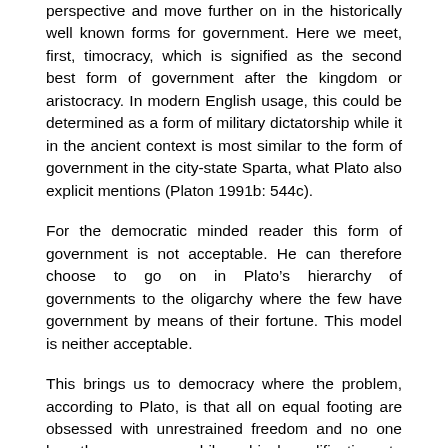perspective and move further on in the historically well known forms for government. Here we meet, first, timocracy, which is signified as the second best form of government after the kingdom or aristocracy. In modern English usage, this could be determined as a form of military dictatorship while it in the ancient context is most similar to the form of government in the city-state Sparta, what Plato also explicit mentions (Platon 1991b: 544c).
For the democratic minded reader this form of government is not acceptable. He can therefore choose to go on in Plato’s hierarchy of governments to the oligarchy where the few have government by means of their fortune. This model is neither acceptable.
This brings us to democracy where the problem, according to Plato, is that all on equal footing are obsessed with unrestrained freedom and no one has the necessary philosophical qualifications to relate to it. What Plato does